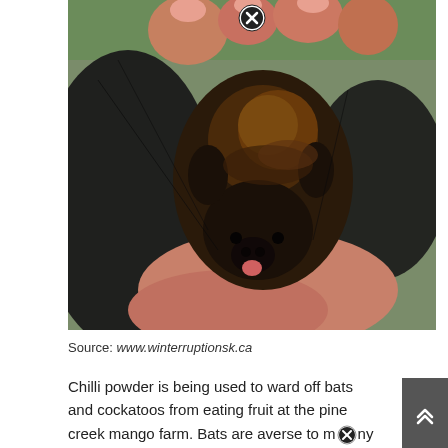[Figure (photo): A small baby bat with dark brown fur and orange-tinted back being held in a person's hands, wings spread. A close-up shot showing the bat's face and body.]
Source: www.winterruptionsk.ca
Chilli powder is being used to ward off bats and cockatoos from eating fruit at the pine creek mango farm. Bats are averse to many types of essential